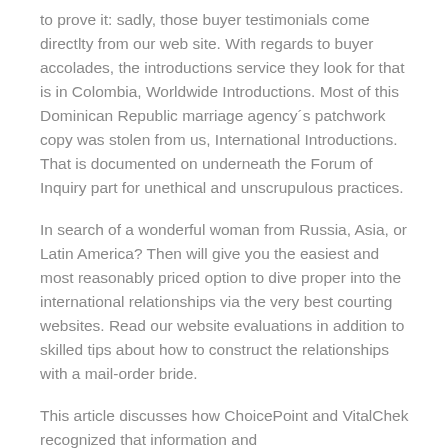to prove it: sadly, those buyer testimonials come directlty from our web site. With regards to buyer accolades, the introductions service they look for that is in Colombia, Worldwide Introductions. Most of this Dominican Republic marriage agency´s patchwork copy was stolen from us, International Introductions. That is documented on underneath the Forum of Inquiry part for unethical and unscrupulous practices.
In search of a wonderful woman from Russia, Asia, or Latin America? Then will give you the easiest and most reasonably priced option to dive proper into the international relationships via the very best courting websites. Read our website evaluations in addition to skilled tips about how to construct the relationships with a mail-order bride.
This article discusses how ChoicePoint and VitalChek recognized that information and